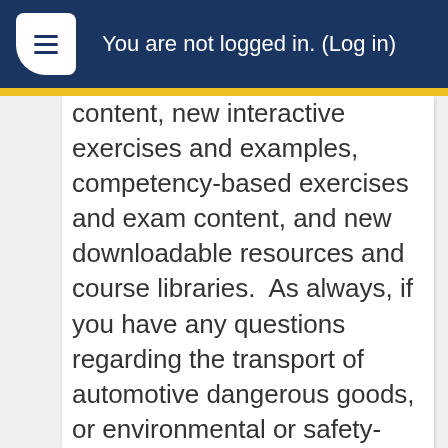You are not logged in. (Log in)
content, new interactive exercises and examples, competency-based exercises and exam content, and new downloadable resources and course libraries. As always, if you have any questions regarding the transport of automotive dangerous goods, or environmental or safety-related questions, please feel free to contact the course authors, ShipMate, Inc., at +1 (310) 370-3600 or CCAR